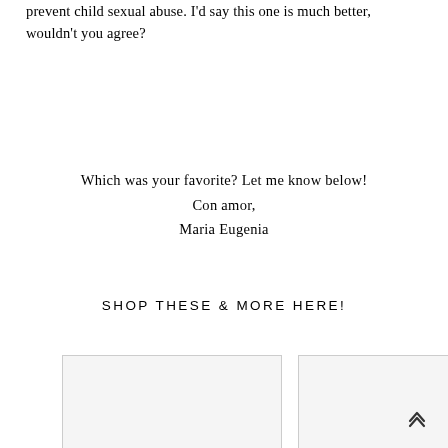prevent child sexual abuse. I'd say this one is much better, wouldn't you agree?
Which was your favorite? Let me know below!
Con amor,
Maria Eugenia
SHOP THESE & MORE HERE!
[Figure (photo): Left product image placeholder]
[Figure (photo): Right product image placeholder]